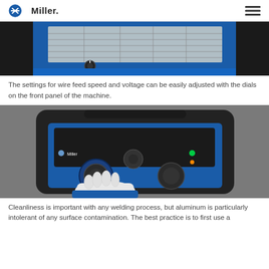Miller
[Figure (photo): Top portion of a Miller welding machine showing the front panel with settings chart, wire feed speed and voltage dials, blue exterior with labels visible]
The settings for wire feed speed and voltage can be easily adjusted with the dials on the front panel of the machine.
[Figure (photo): A Miller Millermatic 211 MIG welder front panel showing two large dials (Auto-Set and voltage), with a gloved hand adjusting the left dial. Green indicator light visible on right side.]
Cleanliness is important with any welding process, but aluminum is particularly intolerant of any surface contamination. The best practice is to first use a